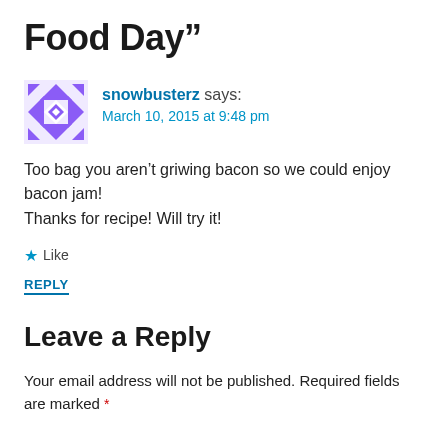Food Day”
snowbusterz says:
March 10, 2015 at 9:48 pm
Too bag you aren’t griwing bacon so we could enjoy bacon jam!
Thanks for recipe! Will try it!
★ Like
REPLY
Leave a Reply
Your email address will not be published. Required fields are marked *